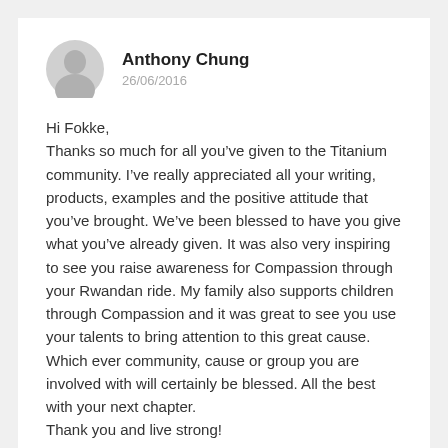[Figure (illustration): Generic user avatar icon — grey silhouette of a person on a light grey circle background]
Anthony Chung
26/06/2016
Hi Fokke,
Thanks so much for all you’ve given to the Titanium community. I’ve really appreciated all your writing, products, examples and the positive attitude that you’ve brought. We’ve been blessed to have you give what you’ve already given. It was also very inspiring to see you raise awareness for Compassion through your Rwandan ride. My family also supports children through Compassion and it was great to see you use your talents to bring attention to this great cause. Which ever community, cause or group you are involved with will certainly be blessed. All the best with your next chapter.
Thank you and live strong!
Anthony